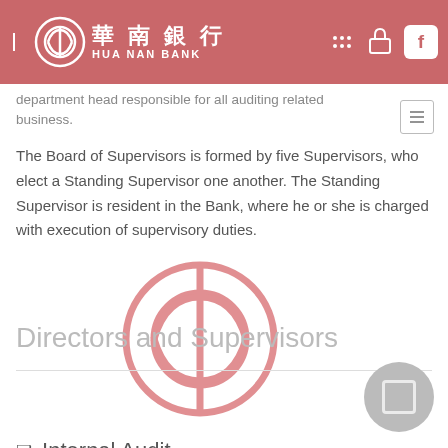華南銀行 HUA NAN BANK
department head responsible for all auditing related business.
The Board of Supervisors is formed by five Supervisors, who elect a Standing Supervisor one another. The Standing Supervisor is resident in the Bank, where he or she is charged with execution of supervisory duties.
Directors and Supervisors
Directors and Supervisors
❑ Internal Audit
❑ Governing Policies